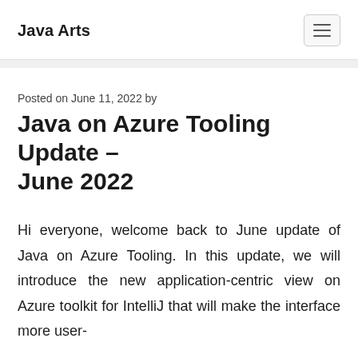Java Arts
Posted on June 11, 2022 by
Java on Azure Tooling Update – June 2022
Hi everyone, welcome back to June update of Java on Azure Tooling. In this update, we will introduce the new application-centric view on Azure toolkit for IntelliJ that will make the interface more user-